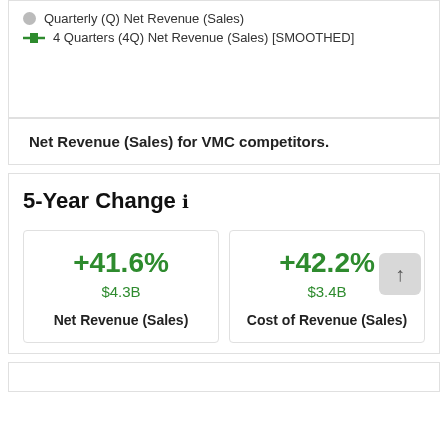[Figure (other): Legend showing two series: Quarterly (Q) Net Revenue (Sales) represented by a grey circle, and 4 Quarters (4Q) Net Revenue (Sales) [SMOOTHED] represented by a green dash-square symbol.]
Net Revenue (Sales) for VMC competitors.
5-Year Change
+41.6%
$4.3B
Net Revenue (Sales)
+42.2%
$3.4B
Cost of Revenue (Sales)